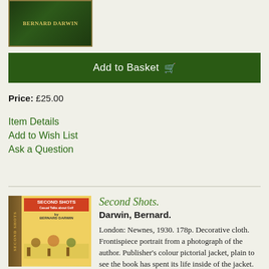[Figure (photo): Book cover image showing Bernard Darwin text on dark green background with gold border decoration]
Add to Basket 🛒
Price: £25.00
Item Details
Add to Wish List
Ask a Question
[Figure (photo): Book cover image of Second Shots by Bernard Darwin showing colourful illustrated cover with golf scenes and spine]
Second Shots.
Darwin, Bernard.
London: Newnes, 1930. 178p. Decorative cloth. Frontispiece portrait from a photograph of the author. Publisher's colour pictorial jacket, plain to see the book has spent its life inside of the jacket. D&J D6820. More ›